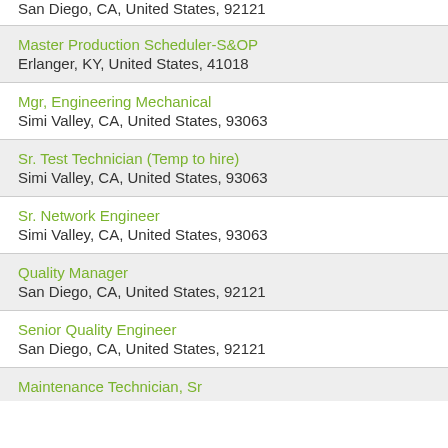Manufacturing Technician
San Diego, CA, United States, 92121
Master Production Scheduler-S&OP
Erlanger, KY, United States, 41018
Mgr, Engineering Mechanical
Simi Valley, CA, United States, 93063
Sr. Test Technician (Temp to hire)
Simi Valley, CA, United States, 93063
Sr. Network Engineer
Simi Valley, CA, United States, 93063
Quality Manager
San Diego, CA, United States, 92121
Senior Quality Engineer
San Diego, CA, United States, 92121
Maintenance Technician, Sr